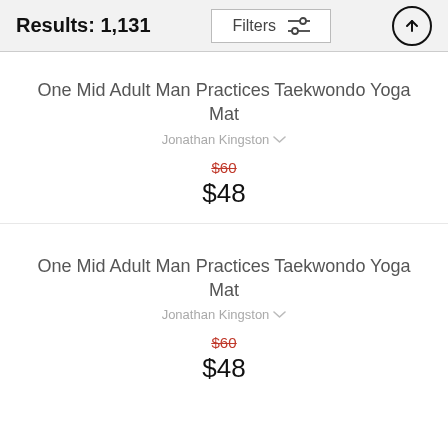Results: 1,131
One Mid Adult Man Practices Taekwondo Yoga Mat
Jonathan Kingston
$60
$48
One Mid Adult Man Practices Taekwondo Yoga Mat
Jonathan Kingston
$60
$48